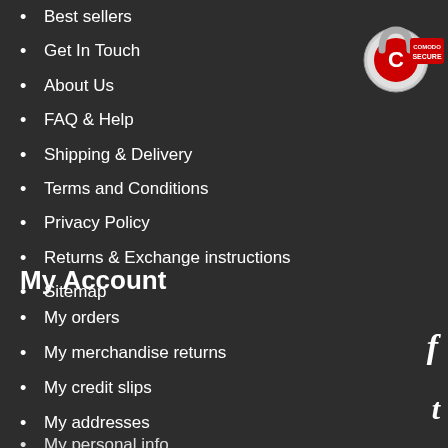[Figure (logo): Comodo Secure badge/logo in the top right corner]
Best sellers
Get In Touch
About Us
FAQ & Help
Shipping & Delivery
Terms and Conditions
Privacy Policy
Returns & Exchange instructions
Sitemap
My Account
My orders
My merchandise returns
My credit slips
My addresses
My personal info